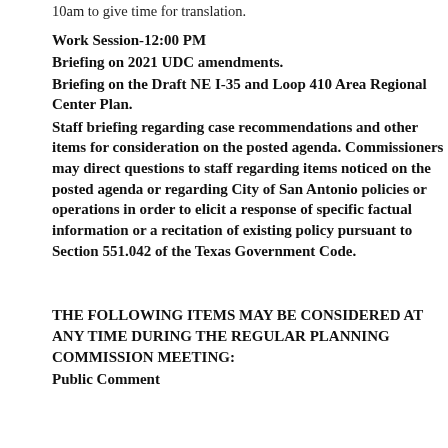10am to give time for translation.
Work Session-12:00 PM
Briefing on 2021 UDC amendments.
Briefing on the Draft NE I-35 and Loop 410 Area Regional Center Plan.
Staff briefing regarding case recommendations and other items for consideration on the posted agenda. Commissioners may direct questions to staff regarding items noticed on the posted agenda or regarding City of San Antonio policies or operations in order to elicit a response of specific factual information or a recitation of existing policy pursuant to Section 551.042 of the Texas Government Code.
THE FOLLOWING ITEMS MAY BE CONSIDERED AT ANY TIME DURING THE REGULAR PLANNING COMMISSION MEETING:
Public Comment